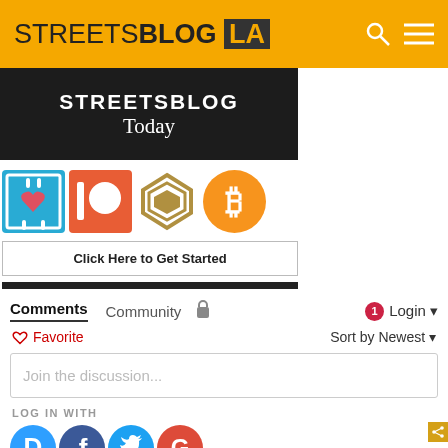STREETSBLOG LA
[Figure (screenshot): STREETSBLOG Today banner - dark background with white text]
[Figure (infographic): Four donation/payment logos: Classy (blue heart), Patreon (red/orange), Steem (gold diamond), Bitcoin (orange circle with B)]
Click Here to Get Started
Comments  Community  🔒  1  Login
♡ Favorite  Sort by Newest
Join the discussion...
LOG IN WITH
[Figure (screenshot): Social login icons: Disqus (D, blue circle), Facebook (f, blue circle), Twitter (bird, blue circle), Google (G, red circle)]